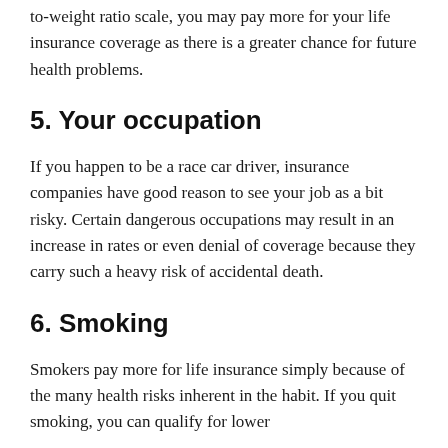to-weight ratio scale, you may pay more for your life insurance coverage as there is a greater chance for future health problems.
5. Your occupation
If you happen to be a race car driver, insurance companies have good reason to see your job as a bit risky. Certain dangerous occupations may result in an increase in rates or even denial of coverage because they carry such a heavy risk of accidental death.
6. Smoking
Smokers pay more for life insurance simply because of the many health risks inherent in the habit. If you quit smoking, you can qualify for lower